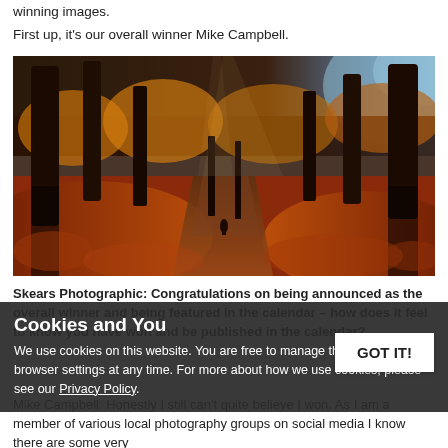winning images.
First up, it's our overall winner Mike Campbell.
[Figure (photo): Autumn forest path with tall bare trees and orange/red fallen leaves on the ground. A lone figure walks along the path in the distance. Dramatic sky with blue tones in the upper right.]
Skears Photographic: Congratulations on being announced as the overall winner and being featured in the calendar – how does it feel to know you have won and be published in the calendar?
Mike Campbell: Honestly I still can't quite believe I won. As I am a member of various local photography groups on social media I know there are some very
Cookies and You
We use cookies on this website. You are free to manage these via your browser settings at any time. For more about how we use cookies, please see our Privacy Policy.
GOT IT!